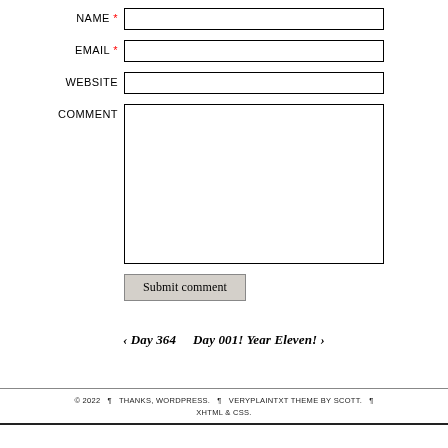NAME * [input field]
EMAIL * [input field]
WEBSITE [input field]
COMMENT [textarea]
Submit comment
‹ Day 364    Day 001! Year Eleven! ›
© 2022 ¶ THANKS, WORDPRESS. ¶ VERYPLAINTXT THEME BY SCOTT. ¶ XHTML & CSS.